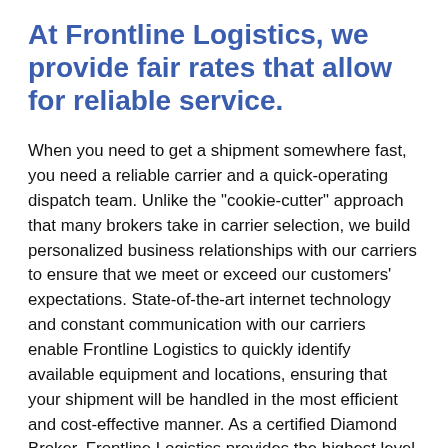At Frontline Logistics, we provide fair rates that allow for reliable service.
When you need to get a shipment somewhere fast, you need a reliable carrier and a quick-operating dispatch team. Unlike the "cookie-cutter" approach that many brokers take in carrier selection, we build personalized business relationships with our carriers to ensure that we meet or exceed our customers' expectations. State-of-the-art internet technology and constant communication with our carriers enable Frontline Logistics to quickly identify available equipment and locations, ensuring that your shipment will be handled in the most efficient and cost-effective manner. As a certified Diamond Broker, Frontline Logistics provides the highest level of